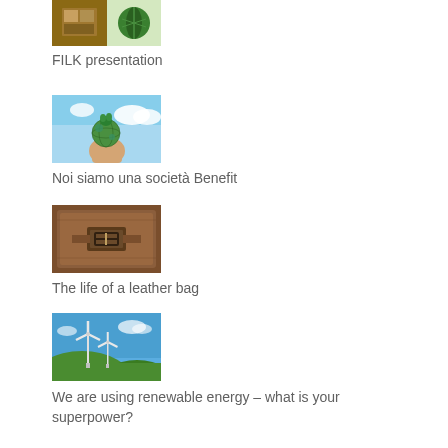[Figure (photo): Thumbnail image for FILK presentation showing products and a tree logo]
FILK presentation
[Figure (photo): A hand holding a small green Earth globe against a blue sky with clouds]
Noi siamo una società Benefit
[Figure (photo): Close-up of a brown leather bag with a metal buckle]
The life of a leather bag
[Figure (photo): Wind turbines on green hills under a clear blue sky]
We are using renewable energy – what is your superpower?